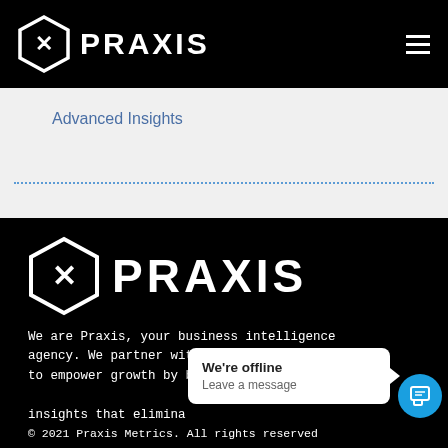PRAXIS
Advanced Insights
[Figure (logo): Praxis logo with hexagon icon and PRAXIS wordmark on black background, footer version]
We are Praxis, your business intelligence agency. We partner with scaling companies to empower growth by building data-driven solutions and insights that eliminate...
We're offline
Leave a message
© 2021 Praxis Metrics. All rights reserved